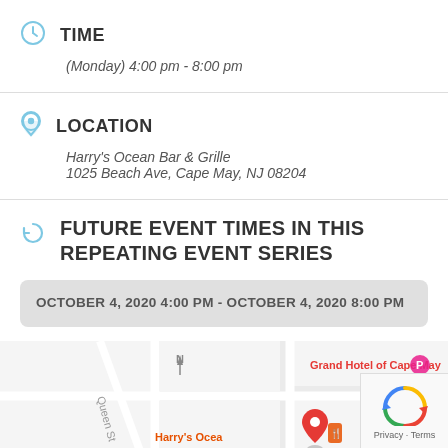TIME
(Monday) 4:00 pm - 8:00 pm
LOCATION
Harry's Ocean Bar & Grille
1025 Beach Ave, Cape May, NJ 08204
FUTURE EVENT TIMES IN THIS REPEATING EVENT SERIES
OCTOBER 4, 2020 4:00 PM - OCTOBER 4, 2020 8:00 PM
[Figure (map): Google Maps showing area around Harry's Ocean Bar & Grille, Cape May NJ, with a red pin marker and label for Grand Hotel of Cape May visible.]